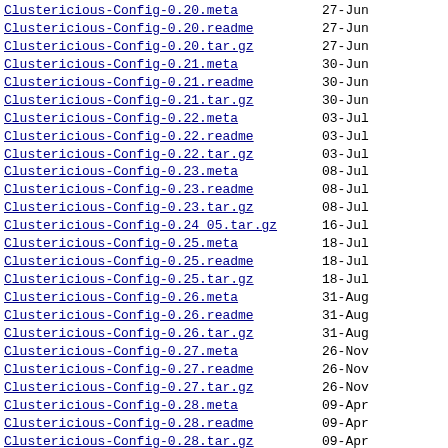Clustericious-Config-0.20.meta   27-Jun
Clustericious-Config-0.20.readme   27-Jun
Clustericious-Config-0.20.tar.gz   27-Jun
Clustericious-Config-0.21.meta   30-Jun
Clustericious-Config-0.21.readme   30-Jun
Clustericious-Config-0.21.tar.gz   30-Jun
Clustericious-Config-0.22.meta   03-Jul
Clustericious-Config-0.22.readme   03-Jul
Clustericious-Config-0.22.tar.gz   03-Jul
Clustericious-Config-0.23.meta   08-Jul
Clustericious-Config-0.23.readme   08-Jul
Clustericious-Config-0.23.tar.gz   08-Jul
Clustericious-Config-0.24 05.tar.gz   16-Jul
Clustericious-Config-0.25.meta   18-Jul
Clustericious-Config-0.25.readme   18-Jul
Clustericious-Config-0.25.tar.gz   18-Jul
Clustericious-Config-0.26.meta   31-Aug
Clustericious-Config-0.26.readme   31-Aug
Clustericious-Config-0.26.tar.gz   31-Aug
Clustericious-Config-0.27.meta   26-Nov
Clustericious-Config-0.27.readme   26-Nov
Clustericious-Config-0.27.tar.gz   26-Nov
Clustericious-Config-0.28.meta   09-Apr
Clustericious-Config-0.28.readme   09-Apr
Clustericious-Config-0.28.tar.gz   09-Apr
Clustericious-Config-0.29.meta   09-Sep
Clustericious-Config-0.29.readme   09-Sep
Clustericious-Config-0.29.tar.gz   09-Sep
Clustericious-Config-0.30.meta   07-Oct
Clustericious-Config-0.30.readme   07-Oct
Clustericious-Config-0.31.tar.gz   07-Oct